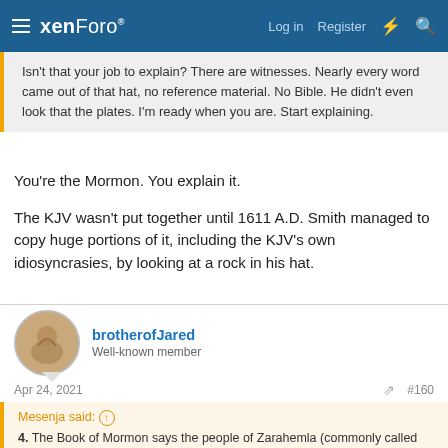xenForo | Log in | Register
Isn't that your job to explain? There are witnesses. Nearly every word came out of that hat, no reference material. No Bible. He didn't even look that the plates. I'm ready when you are. Start explaining.
You're the Mormon. You explain it.
The KJV wasn't put together until 1611 A.D. Smith managed to copy huge portions of it, including the KJV's own idiosyncrasies, by looking at a rock in his hat.
brotherofJared
Well-known member
Apr 24, 2021  #160
Mesenja said:
4. The Book of Mormon says the people of Zarahemla (commonly called Mulekites) sailed across the sea from the ancient Near East ca.